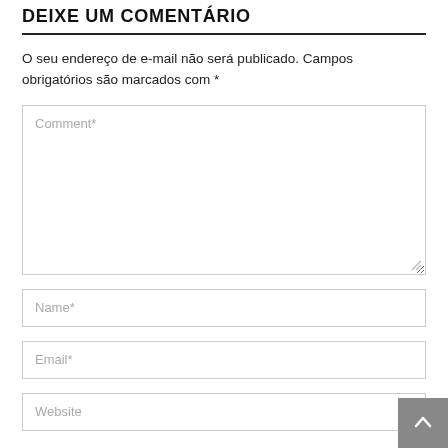DEIXE UM COMENTÁRIO
O seu endereço de e-mail não será publicado. Campos obrigatórios são marcados com *
[Figure (screenshot): Comment text area input field with placeholder text 'Comment*']
[Figure (screenshot): Name input field with placeholder text 'Name*']
[Figure (screenshot): Email input field with placeholder text 'Email*']
[Figure (screenshot): Website input field with placeholder text 'Website']